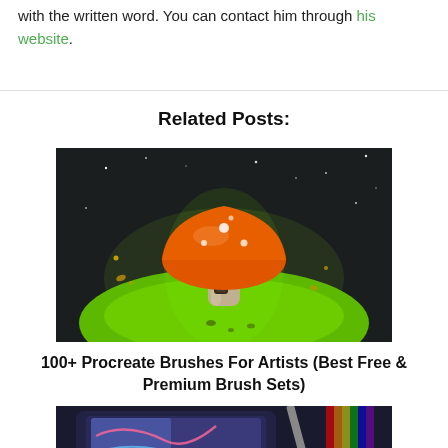with the written word. You can contact him through his website.
Related Posts:
[Figure (illustration): Digital painting of an orange mushroom house on a glowing green hill against a dark starry background]
100+ Procreate Brushes For Artists (Best Free & Premium Brush Sets)
[Figure (photo): Photo of a tablet device with drawing application, partially visible at bottom of page]